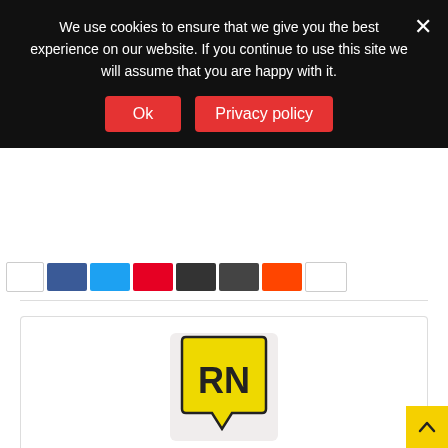We use cookies to ensure that we give you the best experience on our website. If you continue to use this site we will assume that you are happy with it.
Ok
Privacy policy
[Figure (screenshot): Social media share buttons bar: white, Facebook (blue), Twitter (light blue), Pinterest (red), dark button, dark button, Reddit (orange-red), white button]
[Figure (logo): RNspeak logo: yellow speech bubble with black letters RN on a light background]
RNspeak
https://rnspeak.com
This is a community of professional nurses gifted with literary skills who share theoretical and clinical knowledge, nursing